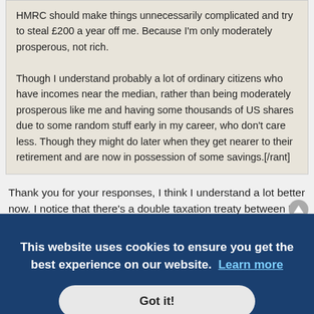HMRC should make things unnecessarily complicated and try to steal £200 a year off me. Because I'm only moderately prosperous, not rich.

Though I understand probably a lot of ordinary citizens who have incomes near the median, rather than being moderately prosperous like me and having some thousands of US shares due to some random stuff early in my career, who don't care less. Though they might do later when they get nearer to their retirement and are now in possession of some savings.[/rant]
Thank you for your responses, I think I understand a lot better now. I notice that there's a double taxation treaty between UK and India which came into force in 1994.
IvanV
Deceased
...mitted
...to pay
...sted that
this might not be very much, depending how she has organised her affairs. And she has left open to herself the possibility of reasserting her
This website uses cookies to ensure you get the best experience on our website.  Learn more
Got it!